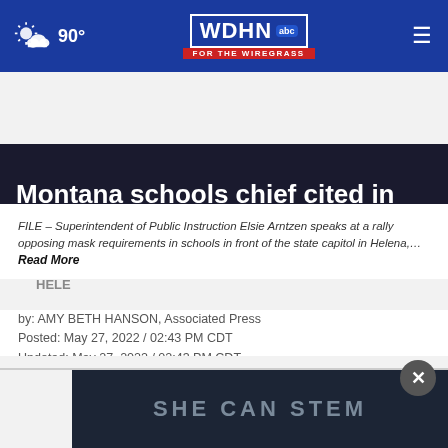90° WDHN abc FOR THE WIREGRASS
Montana schools chief cited in case of illegal bus passing
FILE – Superintendent of Public Instruction Elsie Arntzen speaks at a rally opposing mask requirements in schools in front of the state capitol in Helena,… Read More
by: AMY BETH HANSON, Associated Press
Posted: May 27, 2022 / 02:43 PM CDT
Updated: May 27, 2022 / 02:43 PM CDT
SHARE
HELE
[Figure (screenshot): SHE CAN STEM advertisement overlay at the bottom of the page]